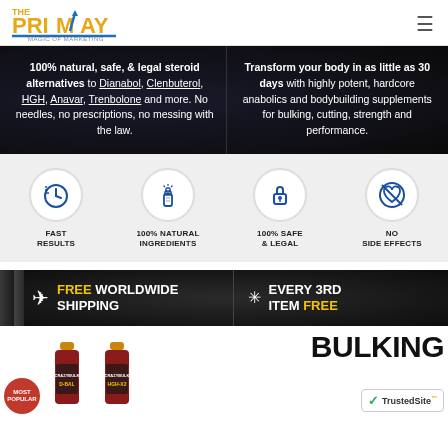THE PRIMAY MAGIC OF MARKETING
100% natural, safe, & legal steroid alternatives to Dianabol, Clenbuterol, HGH, Anavar, Trenbolone and more. No needles, no prescriptions, no messing with the law.
Transform your body in as little as 30 days with highly potent, hardcore anabolics and bodybuilding supplements for bulking, cutting, strength and performance.
[Figure (infographic): Four feature icons in circles: Fast Results (clock with speed lines), 100% Natural Ingredients (supplement bottle), 100% Safe & Legal (padlock), No Side Effects (heart with cross-out)]
FREE WORLDWIDE SHIPPING
EVERY 3RD ITEM FREE
BULKING
[Figure (photo): Product bottles for bulking supplements - D-BAL and another product visible, with Most Popular badge]
[Figure (logo): TrustedSite badge with green checkmark]